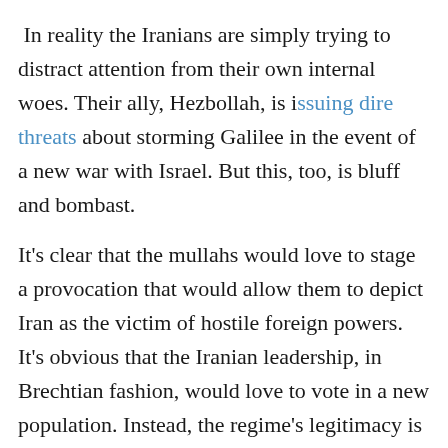In reality the Iranians are simply trying to distract attention from their own internal woes. Their ally, Hezbollah, is issuing dire threats about storming Galilee in the event of a new war with Israel. But this, too, is bluff and bombast.
It's clear that the mullahs would love to stage a provocation that would allow them to depict Iran as the victim of hostile foreign powers. It's obvious that the Iranian leadership, in Brechtian fashion, would love to vote in a new population. Instead, the regime's legitimacy is almost completely spent.